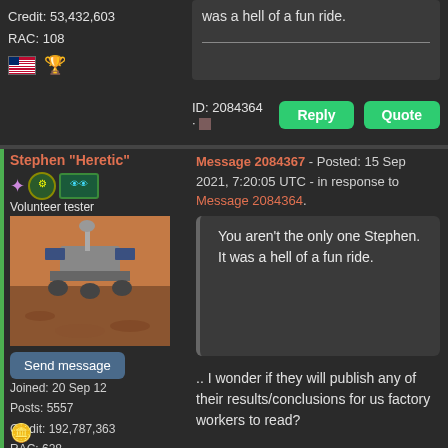Credit: 53,432,603
RAC: 108
was a hell of a fun ride.
ID: 2084364 ·
Reply
Quote
Stephen "Heretic"
Message 2084367 - Posted: 15 Sep 2021, 7:20:05 UTC - in response to Message 2084364.
Volunteer tester
[Figure (photo): Mars rover on rocky terrain - avatar image]
Send message
Joined: 20 Sep 12
Posts: 5557
Credit: 192,787,363
RAC: 628
You aren't the only one Stephen. It was a hell of a fun ride.
.. I wonder if they will publish any of their results/conclusions for us factory workers to read?